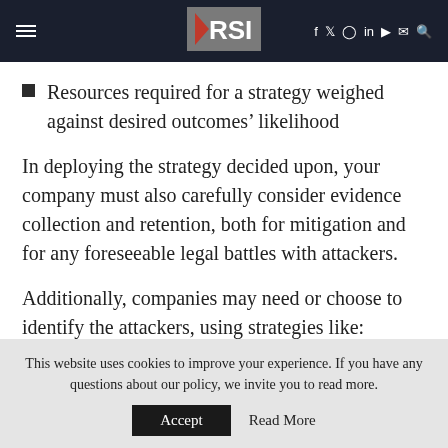RSI — navigation header with hamburger menu, logo, and social/search icons
Resources required for a strategy weighed against desired outcomes' likelihood
In deploying the strategy decided upon, your company must also carefully consider evidence collection and retention, both for mitigation and for any foreseeable legal battles with attackers.
Additionally, companies may need or choose to identify the attackers, using strategies like:
This website uses cookies to improve your experience. If you have any questions about our policy, we invite you to read more.